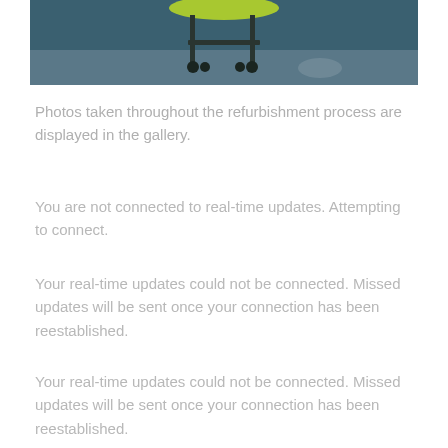[Figure (photo): Photo taken during refurbishment process showing equipment (possibly a stretcher or cart) on a blue floor, with a yellow-green object visible at the top]
Photos taken throughout the refurbishment process are displayed in the gallery.
You are not connected to real-time updates. Attempting to connect.
Your real-time updates could not be connected. Missed updates will be sent once your connection has been reestablished.
Your real-time updates could not be connected. Missed updates will be sent once your connection has been reestablished.